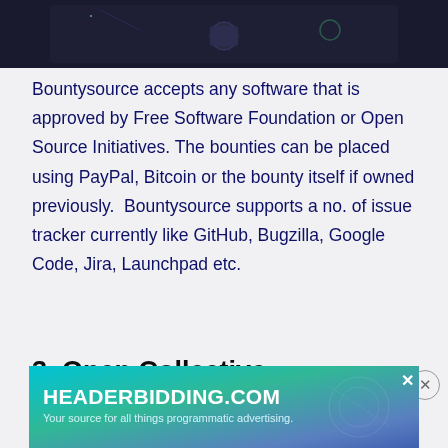[Figure (screenshot): Dark background screenshot/image of an application interface, partially visible at the top of the page]
Bountysource accepts any software that is approved by Free Software Foundation or Open Source Initiatives. The bounties can be placed using PayPal, Bitcoin or the bounty itself if owned previously.  Bountysource supports a no. of issue tracker currently like GitHub, Bugzilla, Google Code, Jira, Launchpad etc.
3. Open Collective
Open
initia
receive the donation for the work he is doing...
[Figure (screenshot): Advertisement banner for HEADERBIDDING.COM - 'Your source for all things programmatic advertising.']